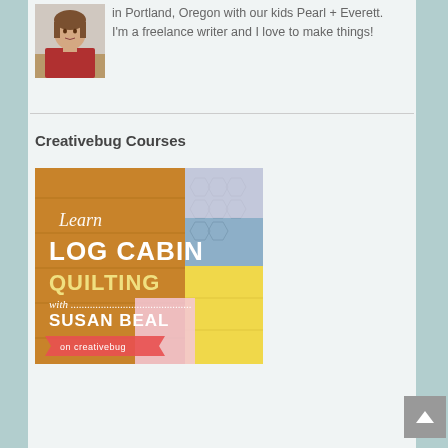in Portland, Oregon with our kids Pearl + Everett. I'm a freelance writer and I love to make things!
[Figure (photo): Photo of a woman with brown hair wearing a red jacket, seated at a table with food]
Creativebug Courses
[Figure (photo): Promotional image for Learn Log Cabin Quilting with Susan Beal on Creativebug, showing a log cabin quilt in yellow, pink and blue fabrics on a wood background]